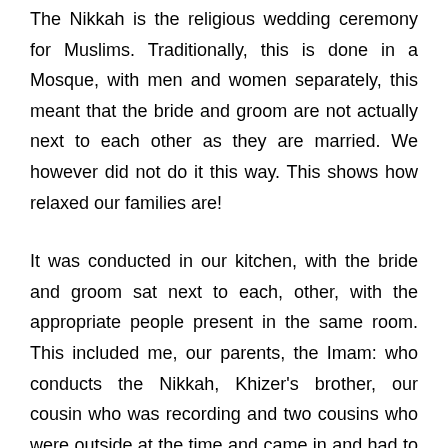The Nikkah is the religious wedding ceremony for Muslims. Traditionally, this is done in a Mosque, with men and women separately, this meant that the bride and groom are not actually next to each other as they are married. We however did not do it this way. This shows how relaxed our families are!
It was conducted in our kitchen, with the bride and groom sat next to each, other, with the appropriate people present in the same room. This included me, our parents, the Imam: who conducts the Nikkah, Khizer's brother, our cousin who was recording and two cousins who were outside at the time and came in and had to stay there. Silly boys!
The other guests were separated, women in the dining room and men in the living room. I personally couldn't care, but tradition had to come into play somehow.